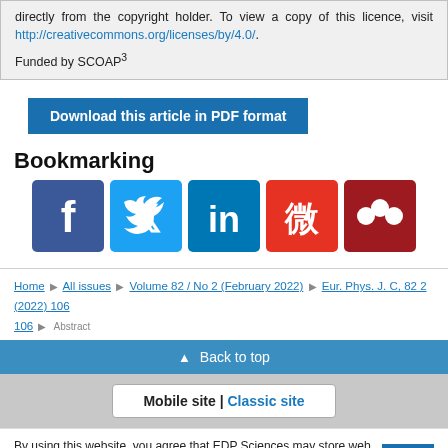directly from the copyright holder. To view a copy of this licence, visit http://creativecommons.org/licenses/by/4.0/.
Funded by SCOAP3
Download this article in PDF format
Bookmarking
[Figure (other): Social media sharing icons: Facebook, Twitter, LinkedIn, Weibo, Mendeley]
Home > All issues > Volume 82 / No 2 (February 2022) > Eur. Phys. J. C, 82 2 (2022) 106 > Abstract
▲ Back to top
Mobile site | Classic site
By using this website, you agree that EDP Sciences may store web audience measurement cookies and, on some pages, cookies from social networks. More information and setup